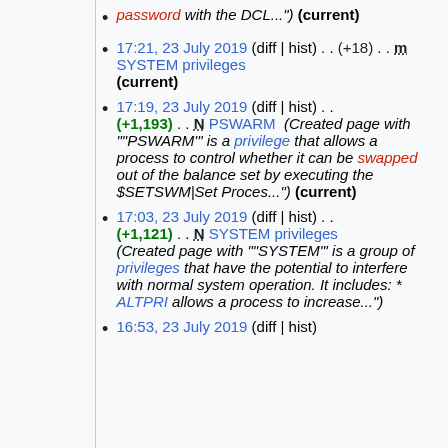password with the DCL...") (current)
17:21, 23 July 2019 (diff | hist) . . (+18) . . m SYSTEM privileges (current)
17:19, 23 July 2019 (diff | hist) . . (+1,193) . . N PSWARM (Created page with """PSWARM"' is a privilege that allows a process to control whether it can be swapped out of the balance set by executing the $SETSWM|Set Proces...") (current)
17:03, 23 July 2019 (diff | hist) . . (+1,121) . . N SYSTEM privileges (Created page with """SYSTEM"' is a group of privileges that have the potential to interfere with normal system operation. It includes: * ALTPRI allows a process to increase...")
16:53, 23 July 2019 (diff | hist)